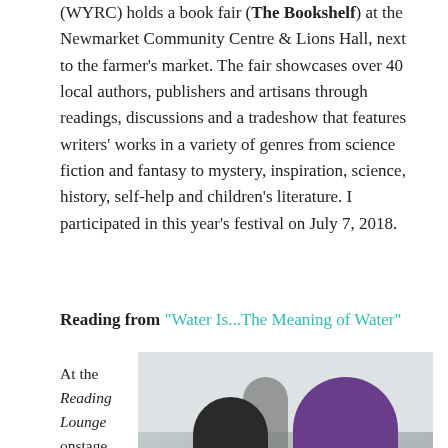(WYRC) holds a book fair (The Bookshelf) at the Newmarket Community Centre & Lions Hall, next to the farmer's market. The fair showcases over 40 local authors, publishers and artisans through readings, discussions and a tradeshow that features writers' works in a variety of genres from science fiction and fantasy to mystery, inspiration, science, history, self-help and children's literature. I participated in this year's festival on July 7, 2018.
Reading from "Water Is...The Meaning of Water"
At the Reading Lounge onstage in the
[Figure (photo): Two women smiling at the Reading Lounge, one in a black top and one in a purple shirt, with a third person visible in the background in an indoor venue setting.]